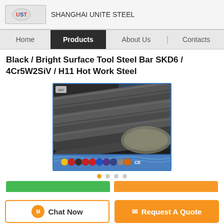SHANGHAI UNITE STEEL
Home | Products | About Us | Contacts
Black / Bright Surface Tool Steel Bar SKD6 / 4Cr5W2SiV / H11 Hot Work Steel
[Figure (photo): Photo of black steel bars/rods bundled together, with certification logos at the bottom]
Chat Now | Request A Quote